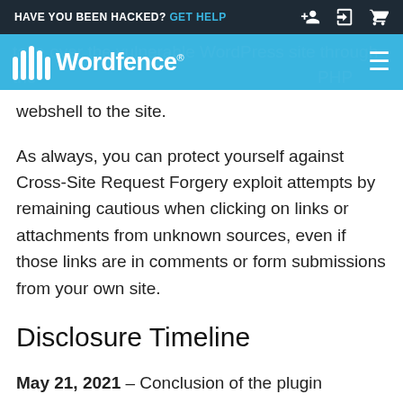HAVE YOU BEEN HACKED? GET HELP
[Figure (logo): Wordfence logo with icon and navigation bar]
take over the vulnerable WordPress site through the upload of a webshell by uploading a PHP webshell to the site.
As always, you can protect yourself against Cross-Site Request Forgery exploit attempts by remaining cautious when clicking on links or attachments from unknown sources, even if those links are in comments or form submissions from your own site.
Disclosure Timeline
May 21, 2021 – Conclusion of the plugin analysis that led to the discovery of several vulnerabilities in the WooCommerce Stock Manager plugin. We